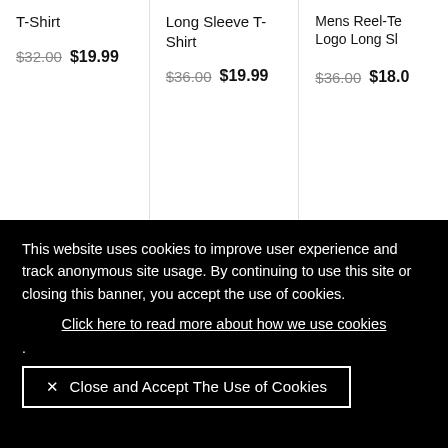T-Shirt
$32.00  $19.99
Long Sleeve T-Shirt
$36.00  $19.99
Mens Reel-Te Logo Long Sl
$36.00  $18.0
This website uses cookies to improve user experience and track anonymous site usage. By continuing to use this site or closing this banner, you accept the use of cookies.
Click here to read more about how we use cookies
.
× Close and Accept The Use of Cookies